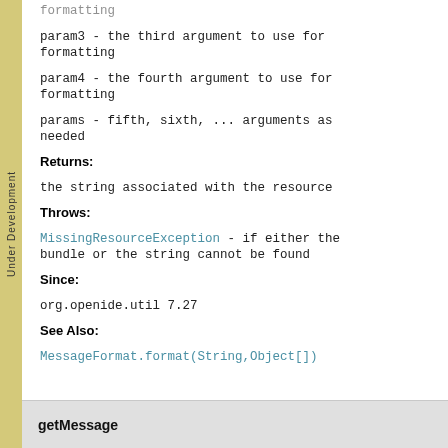formatting
param3 - the third argument to use for formatting
param4 - the fourth argument to use for formatting
params - fifth, sixth, ... arguments as needed
Returns:
the string associated with the resource
Throws:
MissingResourceException - if either the bundle or the string cannot be found
Since:
org.openide.util 7.27
See Also:
MessageFormat.format(String,Object[])
getMessage